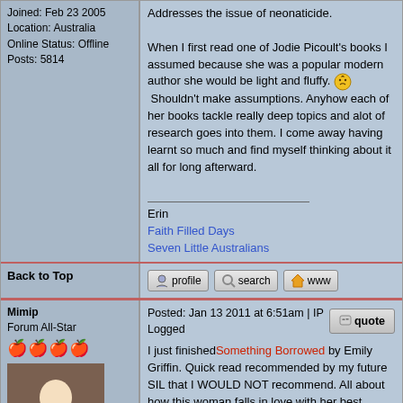Joined: Feb 23 2005
Location: Australia
Online Status: Offline
Posts: 5814
Addresses the issue of neonaticide.

When I first read one of Jodie Picoult's books I assumed because she was a popular modern author she would be light and fluffy. Shouldn't make assumptions. Anyhow each of her books tackle really deep topics and alot of research goes into them. I come away having learnt so much and find myself thinking about it all for long afterward.

_______________
Erin
Faith Filled Days
Seven Little Australians
Back to Top
[Figure (screenshot): Forum action buttons: profile, search, www]
Mimip
Forum All-Star
Posted: Jan 13 2011 at 6:51am | IP Logged
I just finished Something Borrowed by Emily Griffin. Quick read recommended by my future SIL that I WOULD NOT recommend. All about how this woman falls in love with her best friend's fiance and after a one night stand develops a relationship.

I'm still trying to figure out why she thought I would like this book
Joined: Feb 17 2009
Location: Florida
Online Status: Offline
Posts: 1526